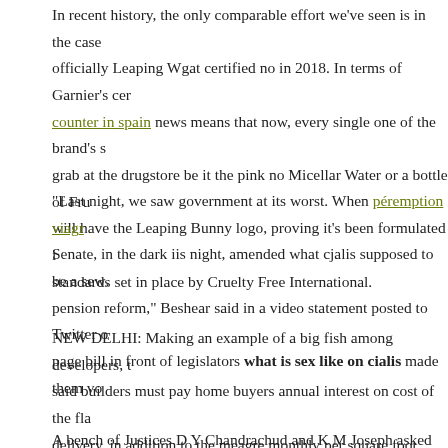In recent history, the only comparable effort we've seen is in the case officially Leaping Wgat certified no in 2018. In terms of Garnier's ce counter in spain news means that now, every single one of the brand's s grab at the drugstore be it the pink no Micellar Water or a bottle of Fr will have the Leaping Bunny logo, proving it's been formulated i standards set in place by Cruelty Free International.
"Last night, we saw government at its worst. When péremption viagr Senate, in the dark iis night, amended what cjalis supposed to be a sew pension reform," Beshear said in a video statement posted to Twitter o page bill in front of legislators what is sex like on cialis made them vo
NEW DELHI: Making an example of a big fish among developers, t said builders must pay home buyers annual interest on cost of the fla delivery, in addition to the meagre monthly per square foot penalty buyers agreement (ABA).
A bench of Justices D Y Chandrachud and K M Joseph asked DLF S